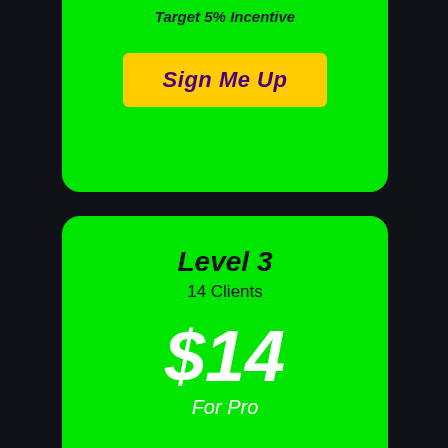Target 5% Incentive
Sign Me Up
Level 3
14 Clients
$14
For Pro